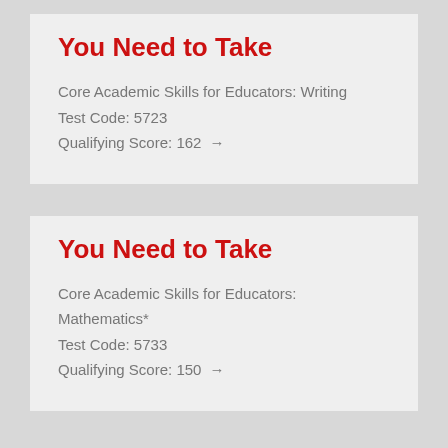You Need to Take
Core Academic Skills for Educators: Writing
Test Code: 5723
Qualifying Score: 162 →
You Need to Take
Core Academic Skills for Educators: Mathematics*
Test Code: 5733
Qualifying Score: 150 →